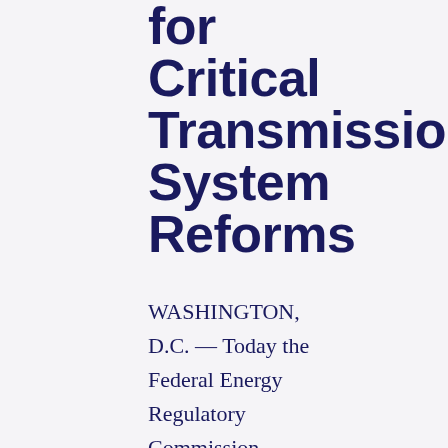for Critical Transmission System Reforms
WASHINGTON, D.C. — Today the Federal Energy Regulatory Commission (FERC) issued a Notice of Proposed